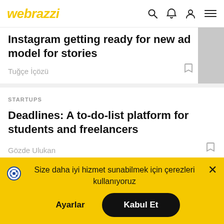webrazzi
Instagram getting ready for new ad model for stories
Tuğçe İçözü
STARTUPS
Deadlines: A to-do-list platform for students and freelancers
Gözde Ulukan
Size daha iyi hizmet sunabilmek için çerezleri kullanıyoruz
Ayarlar
Kabul Et